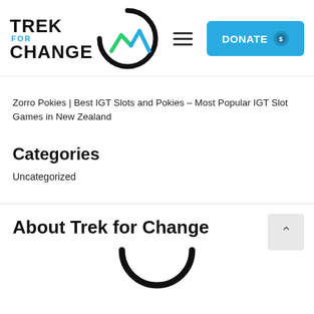[Figure (logo): Trek for Change logo with mountain/arc icon, text TREK FOR CHANGE, hamburger menu icon, and blue DONATE button with dollar icon]
Zorro Pokies | Best IGT Slots and Pokies – Most Popular IGT Slot Games in New Zealand
Categories
Uncategorized
About Trek for Change
[Figure (logo): Partial Trek for Change circular arc logo at bottom of page]